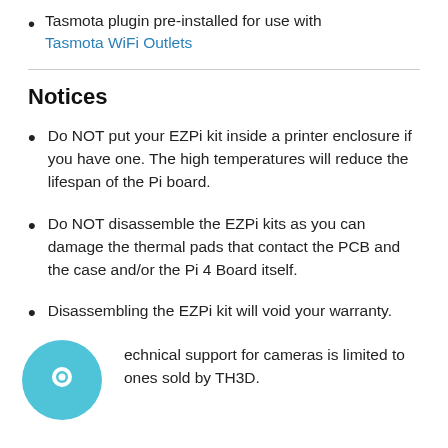Tasmota plugin pre-installed for use with Tasmota WiFi Outlets
Notices
Do NOT put your EZPi kit inside a printer enclosure if you have one. The high temperatures will reduce the lifespan of the Pi board.
Do NOT disassemble the EZPi kits as you can damage the thermal pads that contact the PCB and the case and/or the Pi 4 Board itself.
Disassembling the EZPi kit will void your warranty.
Technical support for cameras is limited to ones sold by TH3D.